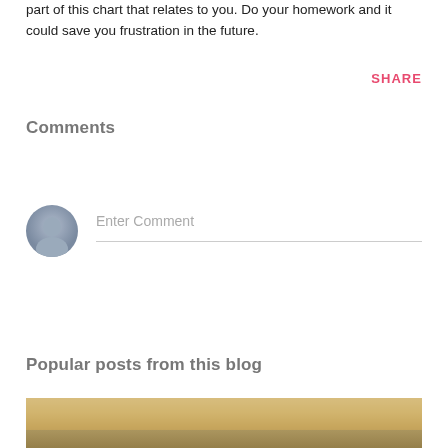part of this chart that relates to you. Do your homework and it could save you frustration in the future.
SHARE
Comments
Enter Comment
Popular posts from this blog
[Figure (photo): Hazy waterfront scene with muted golden tones, boats or ships visible in the distance]